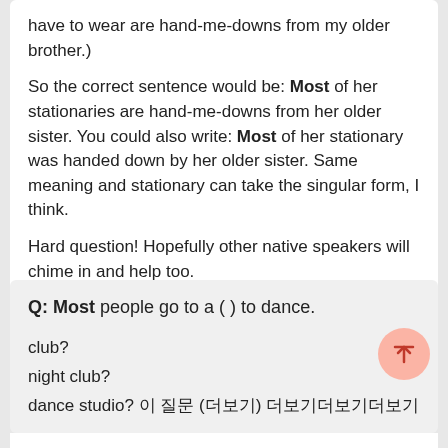have to wear are hand-me-downs from my older brother.)
So the correct sentence would be: Most of her stationaries are hand-me-downs from her older sister. You could also write: Most of her stationary was handed down by her older sister. Same meaning and stationary can take the singular form, I think.
Hard question! Hopefully other native speakers will chime in and help too.
더보기 >
Q: Most people go to a ( ) to dance.
club?
night club?
dance studio? 이 질문 (더보기) 더보기더보기더보기
A: Both club and night club are good.